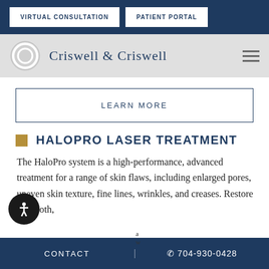VIRTUAL CONSULTATION | PATIENT PORTAL
[Figure (logo): Criswell & Criswell logo with circular icon and text]
LEARN MORE
HALOPRO LASER TREATMENT
The HaloPro system is a high-performance, advanced treatment for a range of skin flaws, including enlarged pores, uneven skin texture, fine lines, wrinkles, and creases. Restore a smooth,
CONTACT | 704-930-0428